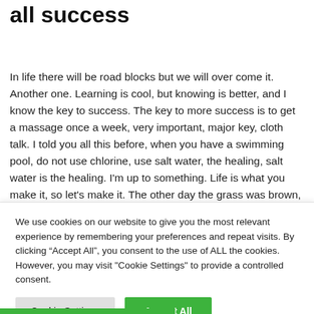all success
In life there will be road blocks but we will over come it. Another one. Learning is cool, but knowing is better, and I know the key to success. The key to more success is to get a massage once a week, very important, major key, cloth talk. I told you all this before, when you have a swimming pool, do not use chlorine, use salt water, the healing, salt water is the healing. I'm up to something. Life is what you make it, so let's make it. The other day the grass was brown, now it's green
We use cookies on our website to give you the most relevant experience by remembering your preferences and repeat visits. By clicking "Accept All", you consent to the use of ALL the cookies. However, you may visit "Cookie Settings" to provide a controlled consent.